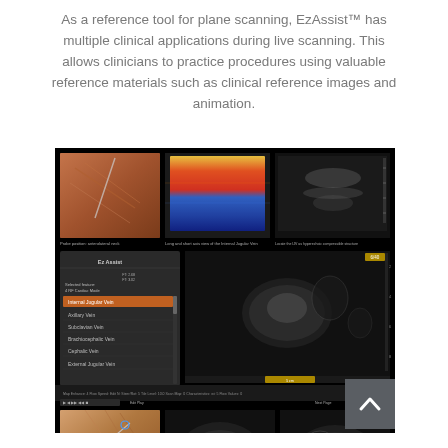As a reference tool for plane scanning, EzAssist™ has multiple clinical applications during live scanning. This allows clinicians to practice procedures using valuable reference materials such as clinical reference images and animation.
[Figure (screenshot): Screenshot of EzAssist software interface showing ultrasound scanning reference tool with multiple panels: anatomical 3D illustrations, color Doppler images, grayscale ultrasound images, and a menu listing vein options (Internal Jugular Vein, Axillary Vein, Subclavian Vein, Brachiocephalic Vein, Cephalic Vein, External Jugular Vein). Bottom section shows additional probe position illustrations and ultrasound images for abdominal scanning.]